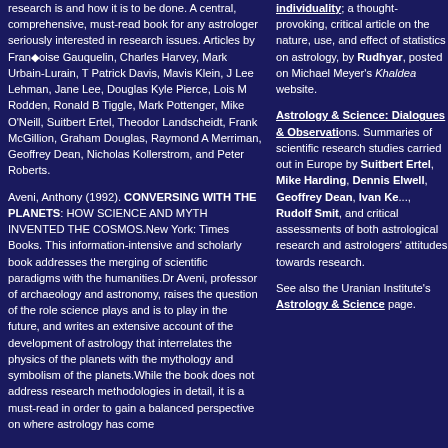research is and how it is to be done. A central, comprehensive, must-read book for any astrologer seriously interested in research issues. Articles by Françoise Gauquelin, Charles Harvey, Mark Urbain-Lurain, T Patrick Davis, Mavis Klein, J Lee Lehman, Jane Lee, Douglas Kyle Pierce, Lois M Rodden, Ronald B Tiggle, Mark Pottenger, Mike O'Neill, Suitbert Ertel, Theodor Landscheidt, Frank McGillion, Graham Douglas, Raymond A Merriman, Geoffrey Dean, Nicholas Kollerstrom, and Peter Roberts.
Aveni, Anthony (1992). CONVERSING WITH THE PLANETS: HOW SCIENCE AND MYTH INVENTED THE COSMOS. New York: Times Books. This information-intensive and scholarly book addresses the merging of scientific paradigms with the humanities. Dr Aveni, professor of archaeology and astronomy, raises the question of the role science plays and is to play in the future, and writes an extensive account of the development of astrology that interrelates the physics of the planets with the mythology and symbolism of the planets. While the book does not address research methodologies in detail, it is a must-read in order to gain a balanced perspective on where astrology has come
individuality; a thought-provoking, critical article on the nature, use, and effect of statistics on astrology, by Rudhyar, posted on Michael Meyer's Khaldea website.
Astrology & Science: Dialogues & Observations. Summaries of scientific research studies carried out in Europe by Suitbert Ertel, Mike Harding, Dennis Elwell, Geoffrey Dean, Ivan Ke..., Rudolf Smit, and critical assessments of both astrological research and astrologers' attitudes towards research.
See also the Uranian Institute's Astrology & Science page.